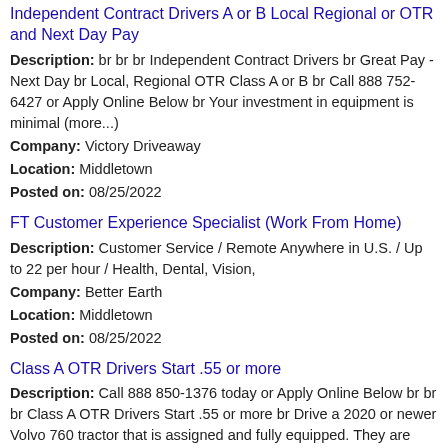Independent Contract Drivers A or B Local Regional or OTR and Next Day Pay
Description: br br br Independent Contract Drivers br Great Pay - Next Day br Local, Regional OTR Class A or B br Call 888 752-6427 or Apply Online Below br Your investment in equipment is minimal (more...)
Company: Victory Driveaway
Location: Middletown
Posted on: 08/25/2022
FT Customer Experience Specialist (Work From Home)
Description: Customer Service / Remote Anywhere in U.S. / Up to 22 per hour / Health, Dental, Vision,
Company: Better Earth
Location: Middletown
Posted on: 08/25/2022
Class A OTR Drivers Start .55 or more
Description: Call 888 850-1376 today or Apply Online Below br br br Class A OTR Drivers Start .55 or more br Drive a 2020 or newer Volvo 760 tractor that is assigned and fully equipped. They are comfortable (more...)
Company: Climate Express
Location: Middletown
Posted on: 08/25/2022